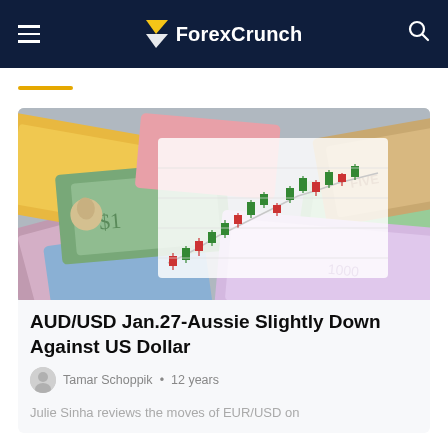ForexCrunch
[Figure (photo): Forex currency notes from various countries spread out with a candlestick chart overlay showing price movements]
AUD/USD Jan.27-Aussie Slightly Down Against US Dollar
Tamar Schoppik • 12 years
Julie Sinha reviews the moves of EUR/USD on